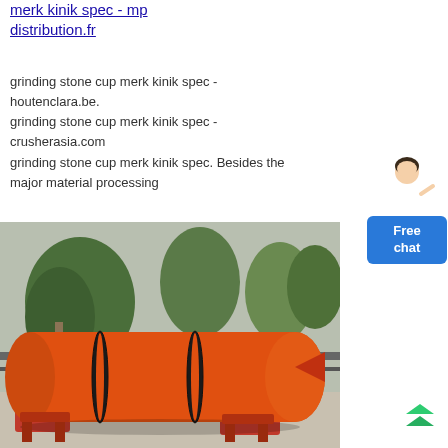merk kinik spec - mp distribution.fr
grinding stone cup merk kinik spec - houtenclara.be. grinding stone cup merk kinik spec - crusherasia.com grinding stone cup merk kinik spec. Besides the major material processing
[Figure (photo): Large orange industrial rotary drum/cylinder machine (possibly a rotary kiln or dryer) with black rings, mounted on red supports, photographed outdoors with trees and a fence visible in the background.]
[Figure (illustration): Free chat widget with avatar of a woman in white jacket and a blue button labeled 'Free chat']
[Figure (other): Scroll-to-top button showing double upward chevron arrows in green/teal color]